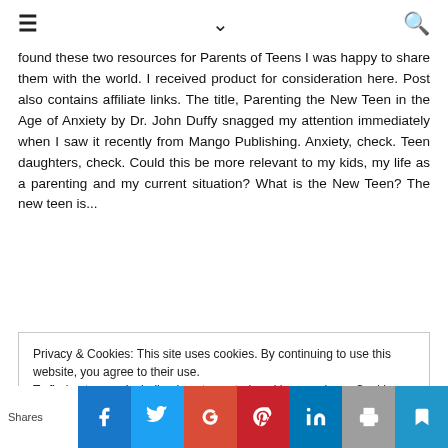☰  ∨  🔍
found these two resources for Parents of Teens I was happy to share them with the world. I received product for consideration here. Post also contains affiliate links. The title, Parenting the New Teen in the Age of Anxiety by Dr. John Duffy snagged my attention immediately when I saw it recently from Mango Publishing. Anxiety, check. Teen daughters, check. Could this be more relevant to my kids, my life as a parenting and my current situation? What is the New Teen? The new teen is...
Privacy & Cookies: This site uses cookies. By continuing to use this website, you agree to their use.
To find out more, including how to control cookies, see here: Cookie Policy
Shares  [Facebook] [Twitter] [Google+] [Pinterest] [LinkedIn] [Print] [Bookmark]